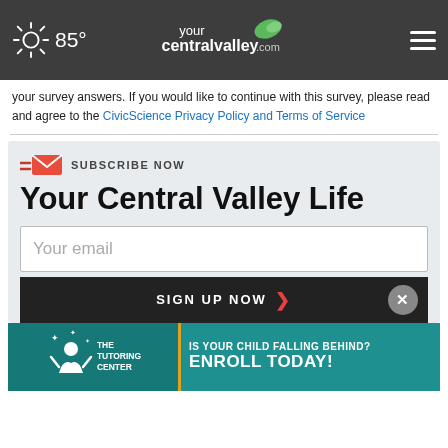85° yourcentralvalley.com
your survey answers. If you would like to continue with this survey, please read and agree to the CivicScience Privacy Policy and Terms of Service
Your Central Valley Life
Your email
SIGN UP NOW
[Figure (screenshot): The Tutoring Center ad: IS YOUR CHILD FALLING BEHIND? ENROLL TODAY!]